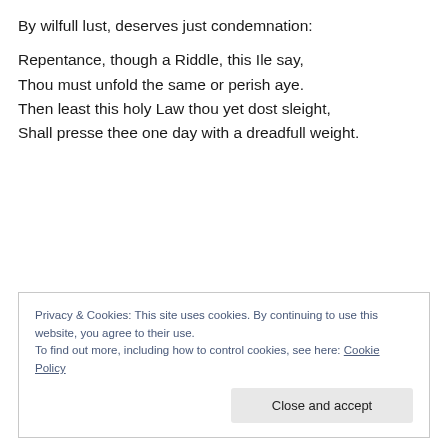By wilfull lust, deserves just condemnation:

Repentance, though a Riddle, this Ile say,
Thou must unfold the same or perish aye.
Then least this holy Law thou yet dost sleight,
Shall presse thee one day with a dreadfull weight.
Privacy & Cookies: This site uses cookies. By continuing to use this website, you agree to their use.
To find out more, including how to control cookies, see here: Cookie Policy
Close and accept